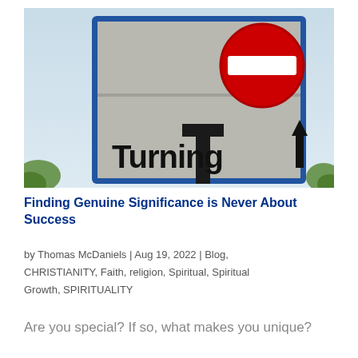[Figure (photo): Close-up photograph of a street sign board with a red no-entry circle sign (white horizontal bar on red circle) and text reading 'Turning' in bold black letters, sign has blue border frame, sky and green foliage visible in background]
Finding Genuine Significance is Never About Success
by Thomas McDaniels | Aug 19, 2022 | Blog, CHRISTIANITY, Faith, religion, Spiritual, Spiritual Growth, SPIRITUALITY
Are you special? If so, what makes you unique?